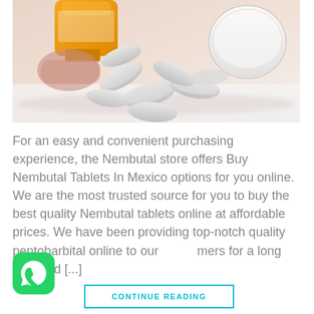[Figure (photo): Photo of white oval tablets/pills spilling out of an orange prescription pill bottle onto a light surface, with white bottle cap visible in background.]
For an easy and convenient purchasing experience, the Nembutal store offers Buy Nembutal Tablets In Mexico options for you online. We are the most trusted source for you to buy the best quality Nembutal tablets online at affordable prices. We have been providing top-notch quality pentobarbital online to our customers for a long time and [...]
[Figure (logo): WhatsApp icon - green rounded square with white phone handset inside speech bubble]
CONTINUE READING